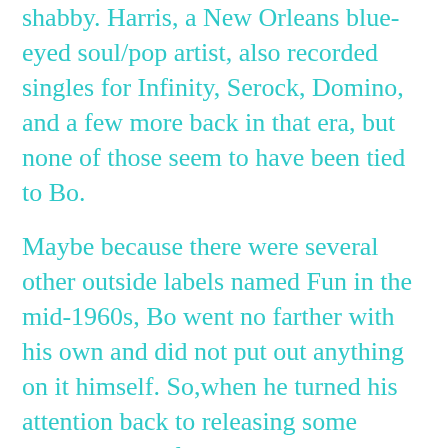shabby. Harris, a New Orleans blue-eyed soul/pop artist, also recorded singles for Infinity, Serock, Domino, and a few more back in that era, but none of those seem to have been tied to Bo.
Maybe because there were several other outside labels named Fun in the mid-1960s, Bo went no farther with his own and did not put out anything on it himself. So,when he turned his attention back to releasing some records as the featured artist, Eddie did it on yet another new imprint.
* Eddie and Snooks together on stage.
The Blue Jay Way
Bo deployed his Blue Jay label later in 1964; and, during it's brief existence, he did some of his best